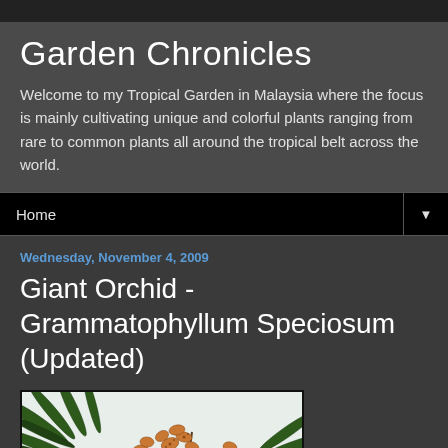Garden Chronicles
Welcome to my Tropical Garden in Malaysia where the focus is mainly cultivating unique and colorful plants ranging from rare to common plants all around the tropical belt across the world.
Home
Wednesday, November 4, 2009
Giant Orchid - Grammatophyllum Speciosum (Updated)
[Figure (photo): Photo of a Giant Orchid (Grammatophyllum Speciosum) plant with orange-brown flowers and palm fronds against a light sky background.]